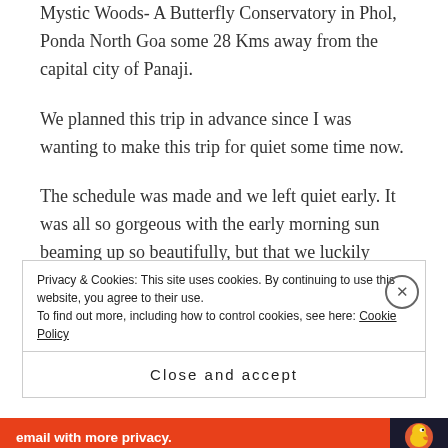Mystic Woods- A Butterfly Conservatory in Phol, Ponda North Goa some 28 Kms away from the capital city of Panaji.
We planned this trip in advance since I was wanting to make this trip for quiet some time now.
The schedule was made and we left quiet early. It was all so gorgeous with the early morning sun beaming up so beautifully, but that we luckily missed a minor mishap when our vehicle lost control due to a tyre puncture.
Privacy & Cookies: This site uses cookies. By continuing to use this website, you agree to their use.
To find out more, including how to control cookies, see here: Cookie Policy
Close and accept
email with more privacy.